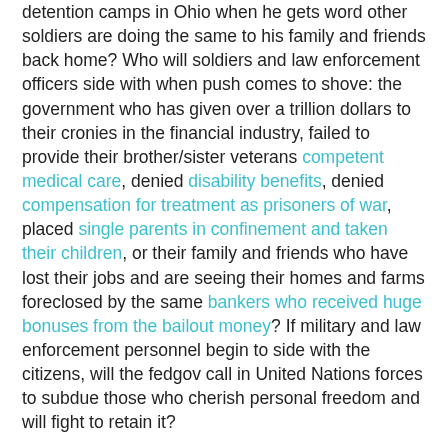detention camps in Ohio when he gets word other soldiers are doing the same to his family and friends back home? Who will soldiers and law enforcement officers side with when push comes to shove: the government who has given over a trillion dollars to their cronies in the financial industry, failed to provide their brother/sister veterans competent medical care, denied disability benefits, denied compensation for treatment as prisoners of war, placed single parents in confinement and taken their children, or their family and friends who have lost their jobs and are seeing their homes and farms foreclosed by the same bankers who received huge bonuses from the bailout money? If military and law enforcement personnel begin to side with the citizens, will the fedgov call in United Nations forces to subdue those who cherish personal freedom and will fight to retain it?
"Regardless of which series of events occur, Americans will be the losers. Brace yourselves and prepare, this is going to get real ugly."
Michael Gaddy [send him mail], an Army veteran of Vietnam,